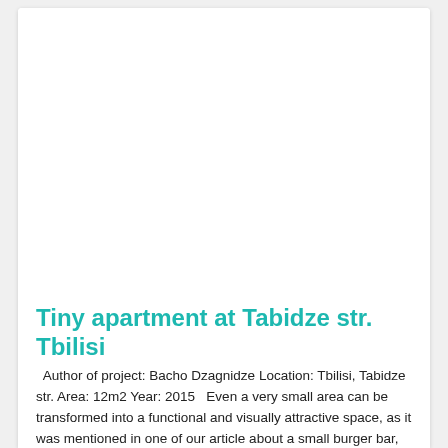[Figure (photo): White/blank image area at top of page]
Tiny apartment at Tabidze str. Tbilisi
Author of project: Bacho Dzagnidze Location: Tbilisi, Tabidze str. Area: 12m2 Year: 2015   Even a very small area can be transformed into a functional and visually attractive space, as it was mentioned in one of our article about a small burger bar, not so long ago. The apartment presented in this time is such type; [...]